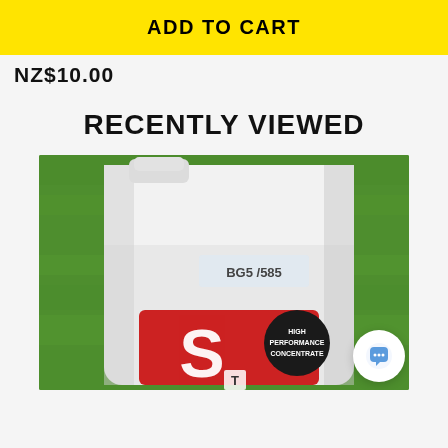ADD TO CART
NZ$10.00
RECENTLY VIEWED
[Figure (photo): A white plastic container/jerry can with label 'BG5 /585' and a red label featuring a large white 'S' logo and a black circle reading 'HIGH PERFORMANCE CONCENTRATE', set against a green grass background.]